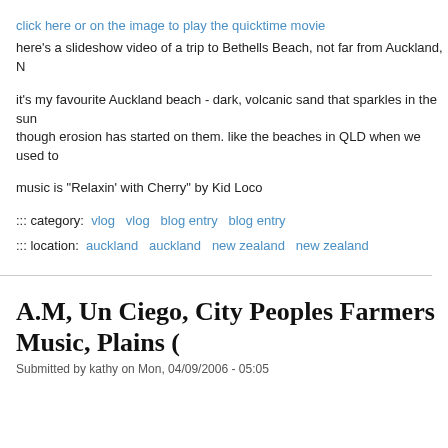click here or on the image to play the quicktime movie
here's a slideshow video of a trip to Bethells Beach, not far from Auckland, N
it's my favourite Auckland beach - dark, volcanic sand that sparkles in the sun though erosion has started on them. like the beaches in QLD when we used to
music is "Relaxin' with Cherry" by Kid Loco
::: category:  vlog   vlog   blog entry   blog entry
::: location:  auckland   auckland   new zealand   new zealand
A.M, Un Ciego, City Peoples Farmers Music, Plains (
Submitted by kathy on Mon, 04/09/2006 - 05:05